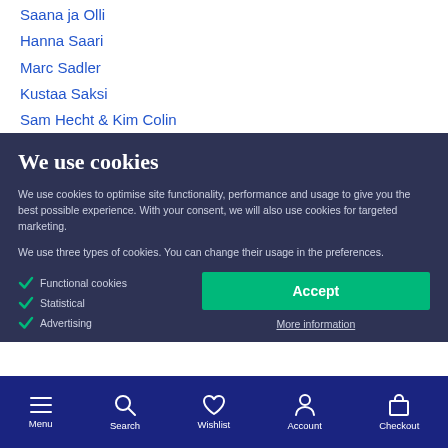Saana ja Olli
Hanna Saari
Marc Sadler
Kustaa Saksi
Sam Hecht & Kim Colin
We use cookies
We use cookies to optimise site functionality, performance and usage to give you the best possible experience. With your consent, we will also use cookies for targeted marketing.
We use three types of cookies. You can change their usage in the preferences.
Functional cookies
Statistical
Advertising
Accept
More information
Menu  Search  Wishlist  Account  Checkout